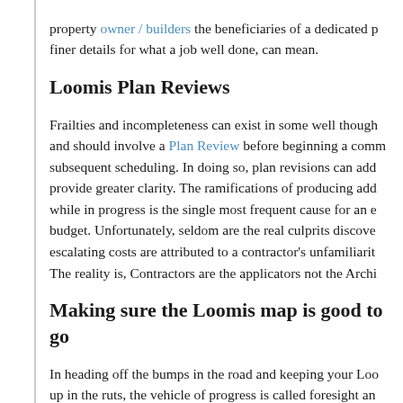property owner / builders the beneficiaries of a dedicated p… finer details for what a job well done, can mean.
Loomis Plan Reviews
Frailties and incompleteness can exist in some well though… and should involve a Plan Review before beginning a comm… subsequent scheduling. In doing so, plan revisions can add… provide greater clarity. The ramifications of producing add… while in progress is the single most frequent cause for an e… budget. Unfortunately, seldom are the real culprits discove… escalating costs are attributed to a contractor's unfamiliarit… The reality is, Contractors are the applicators not the Archi…
Making sure the Loomis map is good to go…
In heading off the bumps in the road and keeping your Loo… up in the ruts, the vehicle of progress is called foresight an… consequences for failing to recognize the incompatibilities… will be hindsight.
All too often plans are produced, distributed for soliciting b… upon successful contract award these are then submitted fo…